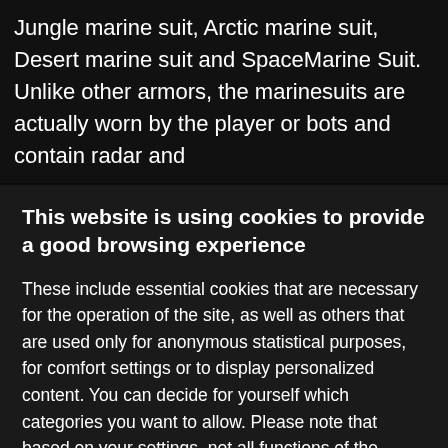Jungle marine suit, Arctic marine suit, Desert marine suit and SpaceMarine Suit. Unlike other armors, the marinesuits are actually worn by the player or bots and contain radar and
This website is using cookies to provide a good browsing experience
These include essential cookies that are necessary for the operation of the site, as well as others that are used only for anonymous statistical purposes, for comfort settings or to display personalized content. You can decide for yourself which categories you want to allow. Please note that based on your settings, not all functions of the website may be available.
Accept all | Accept necessary cookies only | Choose cookies